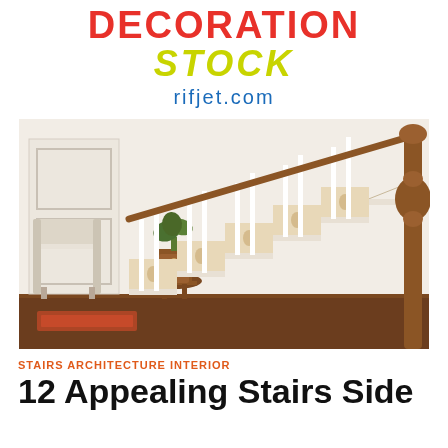DECORATION STOCK
rifjet.com
[Figure (photo): Interior photo of a staircase with white spindles, decorative patterned risers, a wooden newel post, a tufted chair, a small wooden side table with a plant, and dark hardwood floors]
STAIRS ARCHITECTURE INTERIOR
12 Appealing Stairs Side